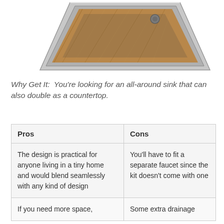[Figure (photo): A stainless steel kitchen sink with a wooden cutting board/countertop cover, viewed from an angle above.]
Why Get It:  You're looking for an all-around sink that can also double as a countertop.
| Pros | Cons |
| --- | --- |
| The design is practical for anyone living in a tiny home and would blend seamlessly with any kind of design | You'll have to fit a separate faucet since the kit doesn't come with one |
| If you need more space, | Some extra drainage |